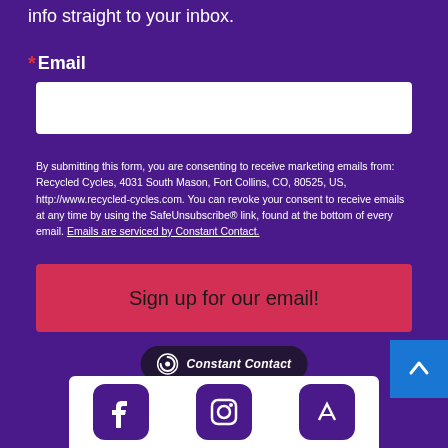info straight to your inbox.
* Email
By submitting this form, you are consenting to receive marketing emails from: Recycled Cycles, 4031 South Mason, Fort Collins, CO, 80525, US, http://www.recycled-cycles.com. You can revoke your consent to receive emails at any time by using the SafeUnsubscribe® link, found at the bottom of every email. Emails are serviced by Constant Contact.
Sign up for our email!
[Figure (logo): Constant Contact logo badge on dark background]
[Figure (illustration): Social media icons (Facebook, Instagram, and another) in purple rounded square containers on white background, partially visible at bottom]